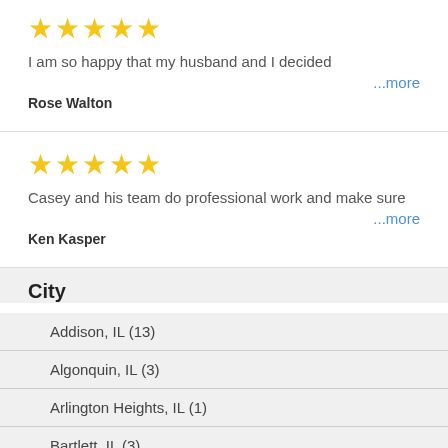[Figure (other): 5 gold stars rating]
I am so happy that my husband and I decided
...more
Rose Walton
[Figure (other): 5 gold stars rating]
Casey and his team do professional work and make sure
...more
Ken Kasper
City
Addison, IL (13)
Algonquin, IL (3)
Arlington Heights, IL (1)
Bartlett, IL (3)